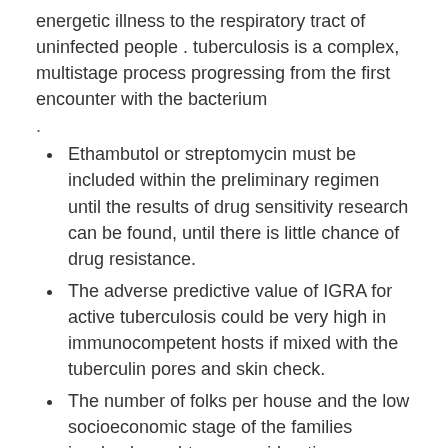energetic illness to the respiratory tract of uninfected people . tuberculosis is a complex, multistage process progressing from the first encounter with the bacterium
.
Ethambutol or streptomycin must be included within the preliminary regimen until the results of drug sensitivity research can be found, until there is little chance of drug resistance.
The adverse predictive value of IGRA for active tuberculosis could be very high in immunocompetent hosts if mixed with the tuberculin pores and skin check.
The number of folks per house and the low socioeconomic stage of the families involved caught our consideration.
In nations where tuberculosis is more frequent, infants often are vaccinated with bacillus